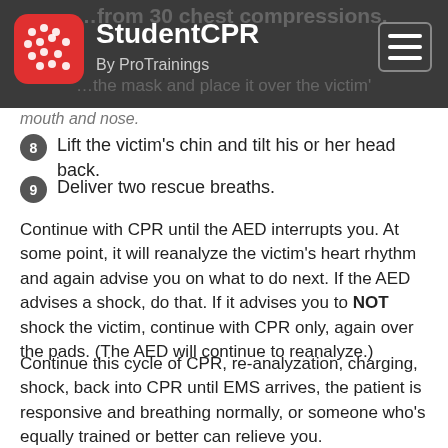StudentCPR By ProTrainings
…from 30 chest compressions. …the mask and place it over the victim's mouth and nose.
8 Lift the victim's chin and tilt his or her head back.
9 Deliver two rescue breaths.
Continue with CPR until the AED interrupts you. At some point, it will reanalyze the victim's heart rhythm and again advise you on what to do next. If the AED advises a shock, do that. If it advises you to NOT shock the victim, continue with CPR only, again over the pads. (The AED will continue to reanalyze.)
Continue this cycle of CPR, re-analyzation, charging, shock, back into CPR until EMS arrives, the patient is responsive and breathing normally, or someone who's equally trained or better can relieve you.